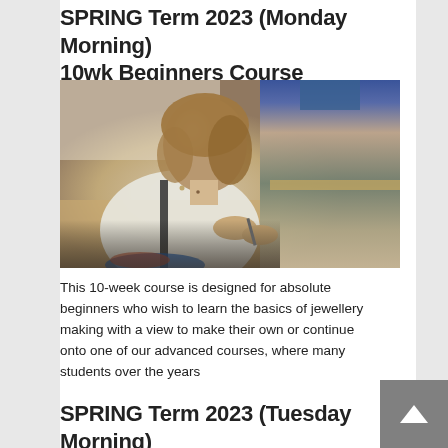SPRING Term 2023 (Monday Morning) 10wk Beginners Course
[Figure (photo): A woman working at a jewellery making workbench, concentrating on crafting a piece of jewellery with tools and equipment visible in the background.]
This 10-week course is designed for absolute beginners who wish to learn the basics of jewellery making with a view to make their own or continue onto one of our advanced courses, where many students over the years
SPRING Term 2023 (Tuesday Morning) 10wk Intermediate/Advanced